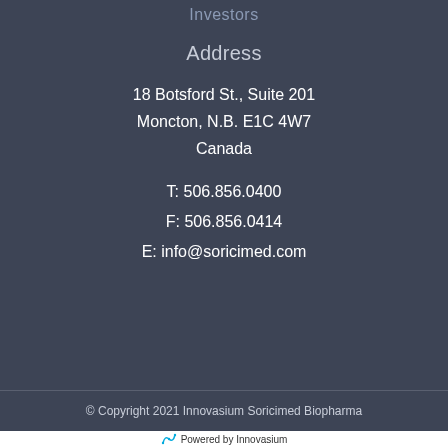Investors
Address
18 Botsford St., Suite 201
Moncton, N.B. E1C 4W7
Canada
T: 506.856.0400
F: 506.856.0414
E: info@soricimed.com
© Copyright 2021 Innovasium Soricimed Biopharma
Powered by Innovasium